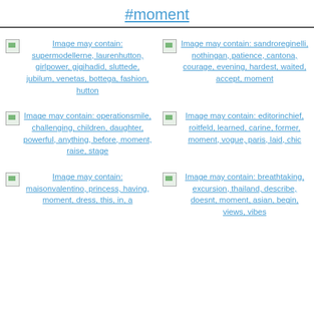#moment
[Figure (other): Broken image placeholder with alt text link: Image may contain: supermodellerne, laurenhutton, girlpower, gigihadid, sluttede, jubilum, venetas, bottega, fashion, hutton]
[Figure (other): Broken image placeholder with alt text link: Image may contain: sandroreginelli, nothingan, patience, cantona, courage, evening, hardest, waited, accept, moment]
[Figure (other): Broken image placeholder with alt text link: Image may contain: operationsmile, challenging, children, daughter, powerful, anything, before, moment, raise, stage]
[Figure (other): Broken image placeholder with alt text link: Image may contain: editorinchief, roitfeld, learned, carine, former, moment, vogue, paris, laid, chic]
[Figure (other): Broken image placeholder with alt text link: Image may contain: maisonvalentino, princess, having, moment, dress, this, in, a]
[Figure (other): Broken image placeholder with alt text link: Image may contain: breathtaking, excursion, thailand, describe, doesnt, moment, asian, begin, views, vibes]